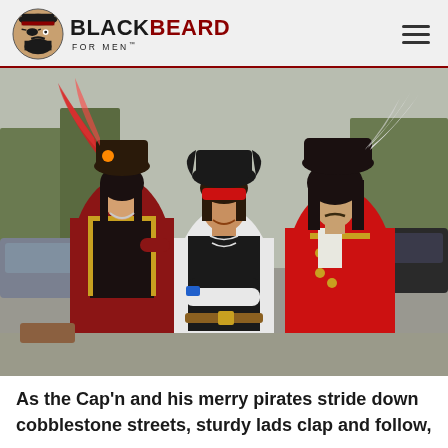BLACKBEARD FOR MEN
[Figure (photo): Three people dressed in pirate costumes posing together outdoors in a parking lot. Left: a woman in a red and black pirate outfit with a feathered tricorn hat. Center: a man in a black vest and white shirt with a black tricorn hat and red bandana. Right: an older man in a red coat with gold trim and a large black feathered hat. They are smiling and posing together.]
As the Cap'n and his merry pirates stride down cobblestone streets, sturdy lads clap and follow,